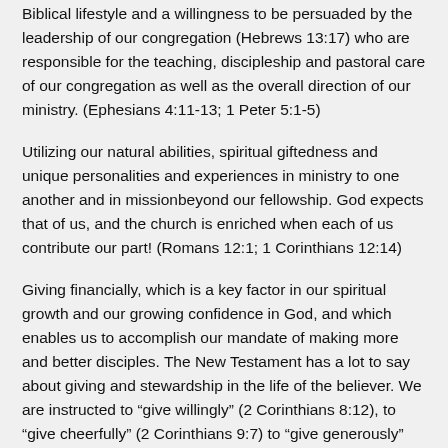Biblical lifestyle and a willingness to be persuaded by the leadership of our congregation (Hebrews 13:17) who are responsible for the teaching, discipleship and pastoral care of our congregation as well as the overall direction of our ministry. (Ephesians 4:11-13; 1 Peter 5:1-5)
Utilizing our natural abilities, spiritual giftedness and unique personalities and experiences in ministry to one another and in missionbeyond our fellowship. God expects that of us, and the church is enriched when each of us contribute our part! (Romans 12:1; 1 Corinthians 12:14)
Giving financially, which is a key factor in our spiritual growth and our growing confidence in God, and which enables us to accomplish our mandate of making more and better disciples. The New Testament has a lot to say about giving and stewardship in the life of the believer. We are instructed to “give willingly” (2 Corinthians 8:12), to “give cheerfully” (2 Corinthians 9:7) to “give generously” (Luke 6:38; (2 Corinthians 9:6, 7)